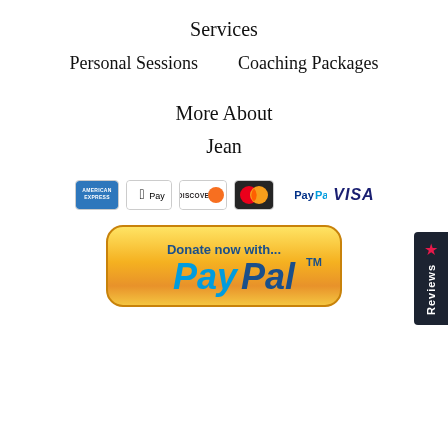Services
Personal Sessions
Coaching Packages
More About
Jean
[Figure (logo): Payment method icons: American Express, Apple Pay, Discover, Mastercard, PayPal, Visa]
[Figure (illustration): Donate now with PayPal button — golden/orange rounded rectangle button with blue text saying 'Donate now with...' and 'PayPal' in italic bold with TM mark]
Reviews